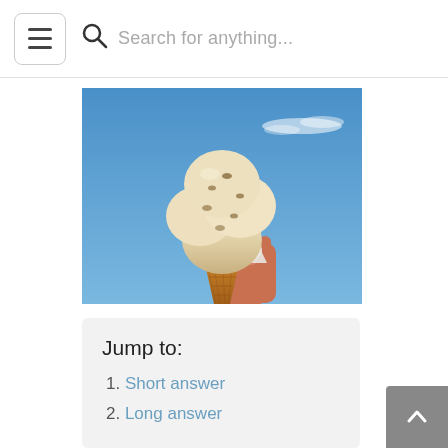Search for anything...
[Figure (photo): A hand holding an ice cream cone with scoops of vanilla/cookie-dough ice cream against a bright blue sky background]
Jump to:
1. Short answer
2. Long answer